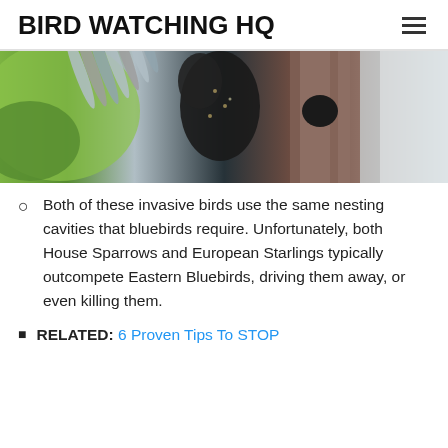BIRD WATCHING HQ
[Figure (photo): A bird (European Starling) with spread wings entering or at a nesting cavity in a wooden structure, with green foliage in background.]
Both of these invasive birds use the same nesting cavities that bluebirds require. Unfortunately, both House Sparrows and European Starlings typically outcompete Eastern Bluebirds, driving them away, or even killing them.
RELATED: 6 Proven Tips To STOP